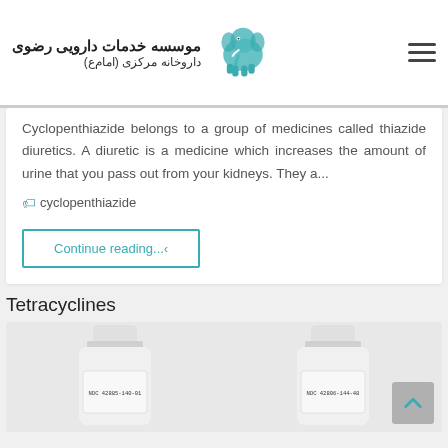موسسه خدمات دارویی رضوی داروخانه مرکزی (امام‌ع)
Cyclopenthiazide belongs to a group of medicines called thiazide diuretics. A diuretic is a medicine which increases the amount of urine that you pass out from your kidneys. They a...
cyclopenthiazide
Continue reading...‹
Tetracyclines
[Figure (photo): Two white medicine bottles with pharmacy labels, showing NDC codes. Left bottle label partially visible, right bottle shows NDC 42806-144-48.]